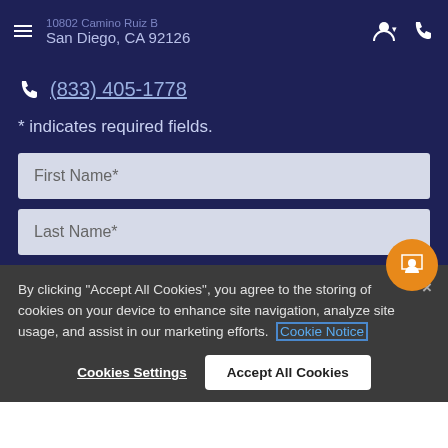10802 Camino Ruiz B, San Diego, CA 92126
(833) 405-1778
* indicates required fields.
First Name*
Last Name*
By clicking “Accept All Cookies”, you agree to the storing of cookies on your device to enhance site navigation, analyze site usage, and assist in our marketing efforts. Cookie Notice
Cookies Settings
Accept All Cookies